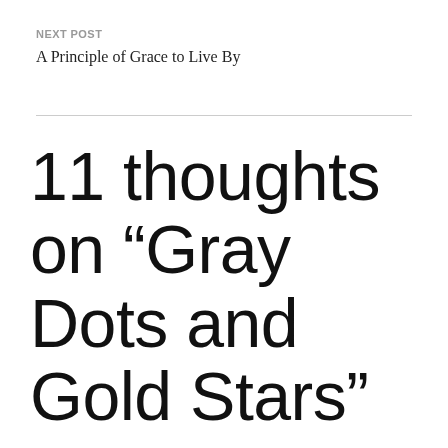NEXT POST
A Principle of Grace to Live By
11 thoughts on “Gray Dots and Gold Stars”